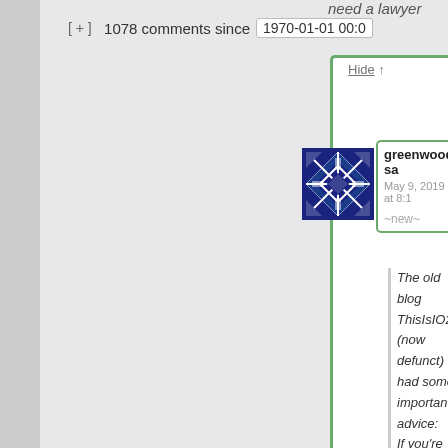need a lawyer
[ + ]  1078 comments since  1970-01-01 00:0
Hide ↑
[Figure (logo): Blue geometric quilt-pattern avatar icon for user greenwoodjw]
greenwoodjw sa...
May 9, 2019 at 8:1...
~new~
The old blog ThisIsIO2... (now defunct) had some important... advice: If you're being questioned... by some